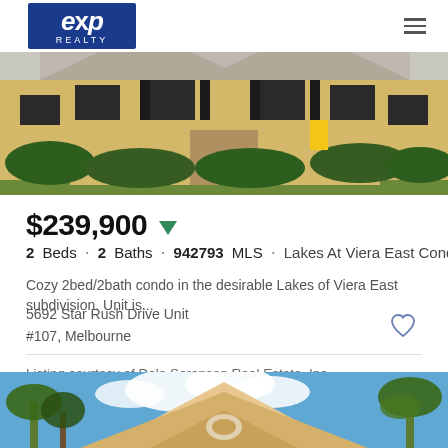eXp Realty
[Figure (photo): Exterior photo of a yellow/tan condo building with black shutters, green shrubs, and lawn]
$239,900
2 Beds · 2 Baths · 942793 MLS · Lakes At Viera East Condo ...
Cozy 2bed/2bath condo in the desirable Lakes of Viera East subdivision. Unit is...
5692 Star Rush Drive Unit #107, Melbourne
Listing courtesy of Dale Sorensen Real Estate, Inc.
[Figure (photo): Exterior photo of a tan/orange house with peaked roof, decorative gable, palm trees, and blue sky with clouds]